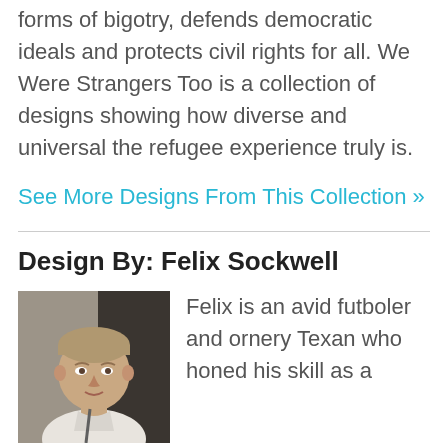forms of bigotry, defends democratic ideals and protects civil rights for all. We Were Strangers Too is a collection of designs showing how diverse and universal the refugee experience truly is.
See More Designs From This Collection »
Design By: Felix Sockwell
[Figure (photo): Photo of Felix Sockwell, a man with short light brown hair wearing a white shirt, photographed indoors against a dark background.]
Felix is an avid futboler and ornery Texan who honed his skill as a